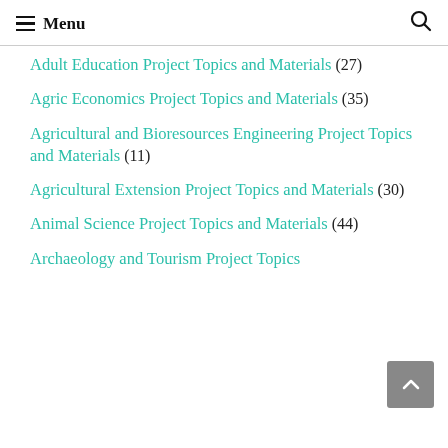Menu
Adult Education Project Topics and Materials (27)
Agric Economics Project Topics and Materials (35)
Agricultural and Bioresources Engineering Project Topics and Materials (11)
Agricultural Extension Project Topics and Materials (30)
Animal Science Project Topics and Materials (44)
Archaeology and Tourism Project Topics